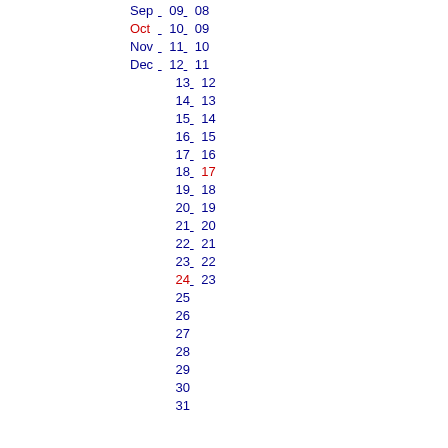Sep 09 08
Oct 10 09
Nov 11 10
Dec 12 11
13 12
14 13
15 14
16 15
17 16
18 17
19 18
20 19
21 20
22 21
23 22
24 23
25
26
27
28
29
30
31